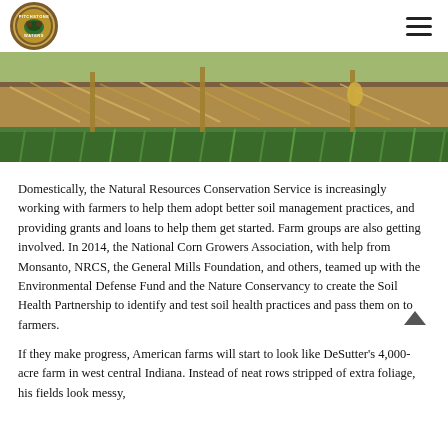Pitchstone Waters logo and navigation hamburger menu
[Figure (photo): Close-up photograph of farm field showing crop residue, dried corn stalks, and green grass ground cover]
Domestically, the Natural Resources Conservation Service is increasingly working with farmers to help them adopt better soil management practices, and providing grants and loans to help them get started. Farm groups are also getting involved. In 2014, the National Corn Growers Association, with help from Monsanto, NRCS, the General Mills Foundation, and others, teamed up with the Environmental Defense Fund and the Nature Conservancy to create the Soil Health Partnership to identify and test soil health practices and pass them on to farmers.
If they make progress, American farms will start to look like DeSutter's 4,000-acre farm in west central Indiana. Instead of neat rows stripped of extra foliage, his fields look messy,